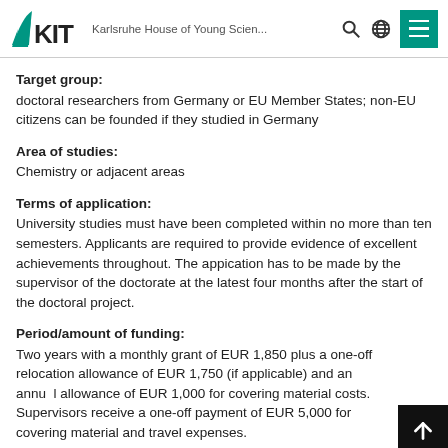KIT — Karlsruhe House of Young Scien...
Target group:
doctoral researchers from Germany or EU Member States; non-EU citizens can be founded if they studied in Germany
Area of studies:
Chemistry or adjacent areas
Terms of application:
University studies must have been completed within no more than ten semesters. Applicants are required to provide evidence of excellent achievements throughout. The appication has to be made by the supervisor of the doctorate at the latest four months after the start of the doctoral project.
Period/amount of funding:
Two years with a monthly grant of EUR 1,850 plus a one-off relocation allowance of EUR 1,750 (if applicable) and an annual allowance of EUR 1,000 for covering material costs. Supervisors receive a one-off payment of EUR 5,000 for covering material and travel expenses.